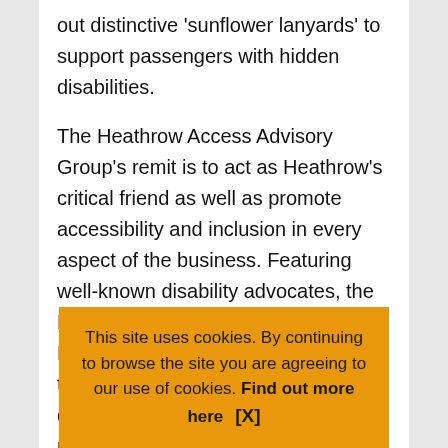out distinctive 'sunflower lanyards' to support passengers with hidden disabilities.
The Heathrow Access Advisory Group's remit is to act as Heathrow's critical friend as well as promote accessibility and inclusion in every aspect of the business. Featuring well-known disability advocates, the HAAG has had a prominent role in Heathrow's new wayfinding concept, the revision and improvement of disability awareness training protocols for security staff, and constant monitoring of service quality output. The HAAG i[...] access[...] Heathr[...]
This site uses cookies. By continuing to browse the site you are agreeing to our use of cookies. Find out more here [X]